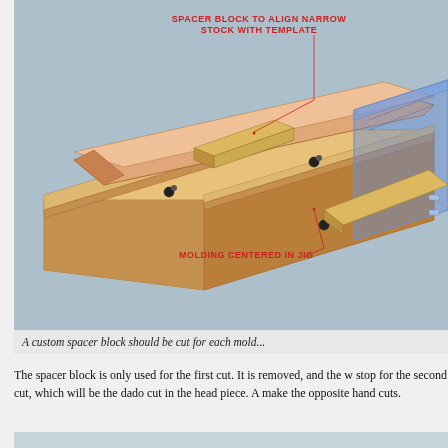[Figure (engineering-diagram): Illustration of a woodworking jig with a spacer block aligning narrow stock with a template. Labels in red text indicate 'SPACER BLOCK TO ALIGN NARROW STOCK WITH TEMPLATE' (top) and 'MOLDING CENTERED IN JIG' (bottom left). A blue transparent router template sits at the right. A wooden molding is centered in the jig secured with knobs.]
A custom spacer block should be cut for each mold...
The spacer block is only used for the first cut. It is removed, and the w... stop for the second cut, which will be the dado cut in the head piece. A... make the opposite hand cuts.